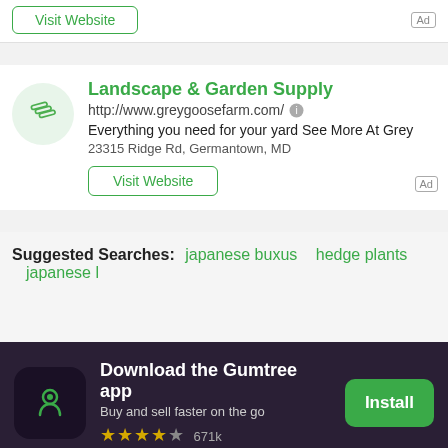[Figure (screenshot): Top partial ad card showing a Visit Website button and Ad label]
Landscape & Garden Supply
http://www.greygoosefarm.com/
Everything you need for your yard See More At Grey
23315 Ridge Rd, Germantown, MD
Visit Website
Ad
Suggested Searches:  japanese buxus   hedge plants   japanese l
Download the Gumtree app
Buy and sell faster on the go
★★★★☆  671k
Install
Tips & help   Legal